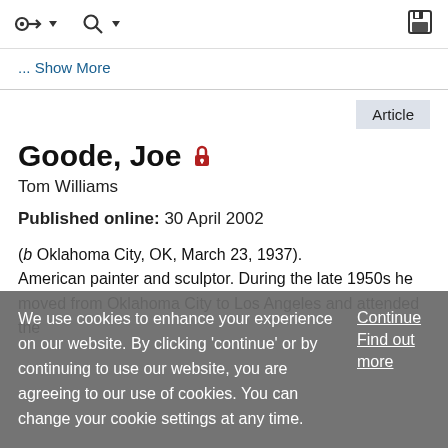... Show More
Goode, Joe
Tom Williams
Published online: 30 April 2002
(b Oklahoma City, OK, March 23, 1937). American painter and sculptor. During the late 1950s he moved from Oklahoma City to Los Angeles and attended the
We use cookies to enhance your experience on our website. By clicking 'continue' or by continuing to use our website, you are agreeing to our use of cookies. You can change your cookie settings at any time.